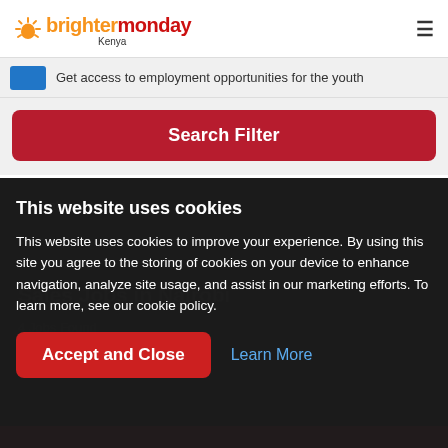BrighterMonday Kenya
Get access to employment opportunities for the youth
Search Filter
This website uses cookies
This website uses cookies to improve your experience. By using this site you agree to the storing of cookies on your device to enhance navigation, analyze site usage, and assist in our marketing efforts. To learn more, see our cookie policy.
Accept and Close
Learn More